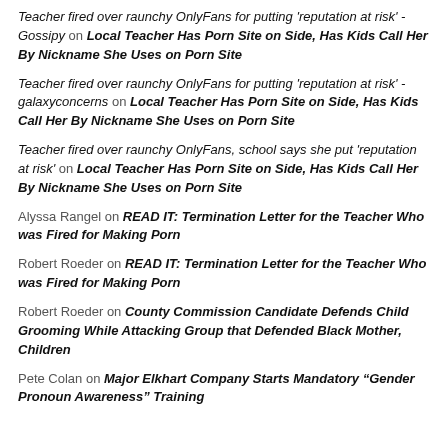Teacher fired over raunchy OnlyFans for putting 'reputation at risk' - Gossipy on Local Teacher Has Porn Site on Side, Has Kids Call Her By Nickname She Uses on Porn Site
Teacher fired over raunchy OnlyFans for putting 'reputation at risk' - galaxyconcerns on Local Teacher Has Porn Site on Side, Has Kids Call Her By Nickname She Uses on Porn Site
Teacher fired over raunchy OnlyFans, school says she put 'reputation at risk' on Local Teacher Has Porn Site on Side, Has Kids Call Her By Nickname She Uses on Porn Site
Alyssa Rangel on READ IT: Termination Letter for the Teacher Who was Fired for Making Porn
Robert Roeder on READ IT: Termination Letter for the Teacher Who was Fired for Making Porn
Robert Roeder on County Commission Candidate Defends Child Grooming While Attacking Group that Defended Black Mother, Children
Pete Colan on Major Elkhart Company Starts Mandatory “Gender Pronoun Awareness” Training